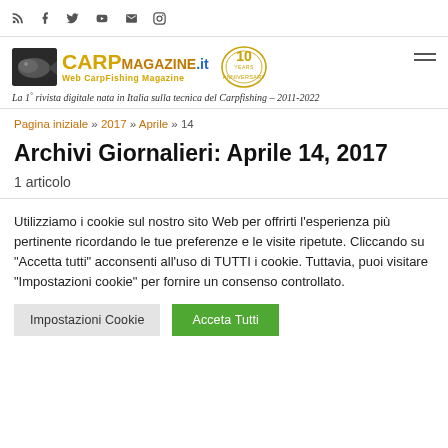Social icons navigation bar
[Figure (logo): Carp Magazine .it logo with fish image, golden text and 10 Years Anniversary badge]
La 1ª rivista digitale nata in Italia sulla tecnica del Carpfishing – 2011-2022
Pagina iniziale » 2017 » Aprile » 14
Archivi Giornalieri: Aprile 14, 2017
1 articolo
Utilizziamo i cookie sul nostro sito Web per offrirti l'esperienza più pertinente ricordando le tue preferenze e le visite ripetute. Cliccando su "Accetta tutti" acconsenti all'uso di TUTTI i cookie. Tuttavia, puoi visitare "Impostazioni cookie" per fornire un consenso controllato.
Impostazioni Cookie | Acceta Tutti